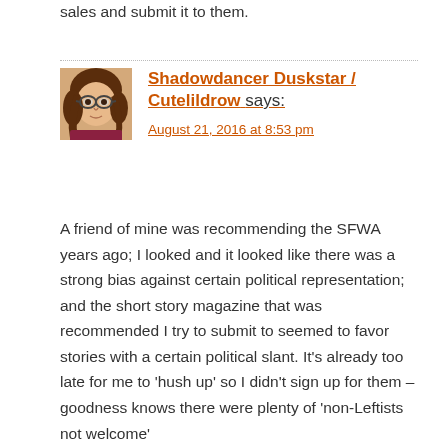sales and submit it to them.
[Figure (illustration): Avatar illustration of a woman with brown hair and glasses, comic/cartoon style]
Shadowowdancer Duskstar / Cutelildrow says:
August 21, 2016 at 8:53 pm
A friend of mine was recommending the SFWA years ago; I looked and it looked like there was a strong bias against certain political representation; and the short story magazine that was recommended I try to submit to seemed to favor stories with a certain political slant. It's already too late for me to 'hush up' so I didn't sign up for them – goodness knows there were plenty of 'non-Leftists not welcome'